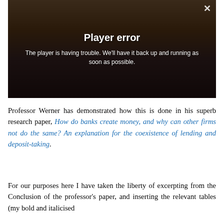[Figure (screenshot): Video player showing a 'Player error' overlay on a dark scene with a woman. The overlay reads 'Player error' in bold white text and 'The player is having trouble. We'll have it back up and running as soon as possible.' A close (X) button appears top right.]
Professor Werner has demonstrated how this is done in his superb research paper, How do banks create money, and why can other firms not do the same? An explanation for the coexistence of lending and deposit-taking.
For our purposes here I have taken the liberty of excerpting from the Conclusion of the professor's paper, and inserting the relevant tables (my bold and italicised